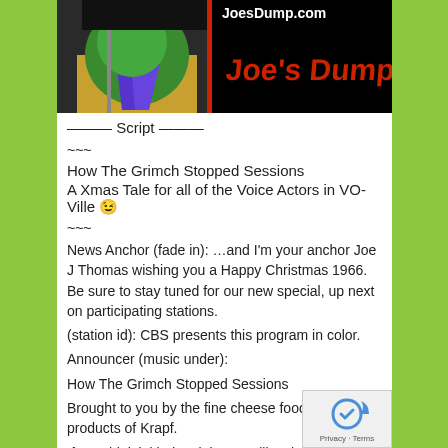[Figure (screenshot): Website banner for JoesDump.com showing a colorized Grinch image on the left half and 'Joe's Dump' logo text in red on a black background on the right half]
——— Script ———
~~~
How The Grimch Stopped Sessions
A Xmas Tale for all of the Voice Actors in VO-Ville 😉
~~~
News Anchor (fade in): …and I'm your anchor Joe J Thomas wishing you a Happy Christmas 1966. Be sure to stay tuned for our new special, up next on participating stations.
(station id): CBS presents this program in color.
Announcer (music under):
How The Grimch Stopped Sessions
Brought to you by the fine cheese food like products of Krapf.
If you think it kinda might taste like cheese, it's probably